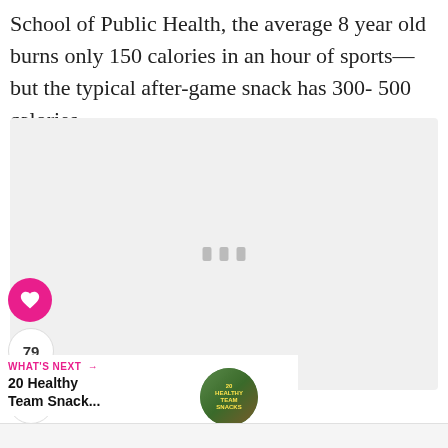School of Public Health, the average 8 year old burns only 150 calories in an hour of sports—but the typical after-game snack has 300- 500 calories.
[Figure (photo): Placeholder image area with light gray background and three small vertical bar icons centered in the middle]
79
WHAT'S NEXT →
20 Healthy Team Snack...